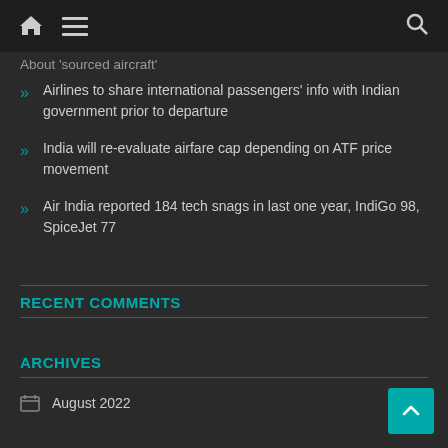[ home icon ] [ menu icon ] [ search icon ]
About sourced aircraft
Airlines to share international passengers' info with Indian government prior to departure
India will re-evaluate airfare cap depending on ATF price movement
Air India reported 184 tech snags in last one year, IndiGo 98, SpiceJet 77
RECENT COMMENTS
ARCHIVES
August 2022